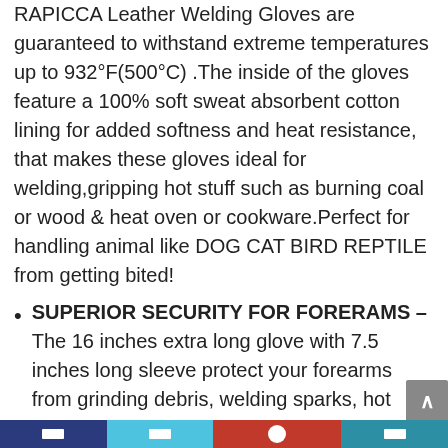RAPICCA Leather Welding Gloves are guaranteed to withstand extreme temperatures up to 932°F(500°C) .The inside of the gloves feature a 100% soft sweat absorbent cotton lining for added softness and heat resistance, that makes these gloves ideal for welding,gripping hot stuff such as burning coal or wood & heat oven or cookware.Perfect for handling animal like DOG CAT BIRD REPTILE from getting bited!
SUPERIOR SECURITY FOR FORERAMS – The 16 inches extra long glove with 7.5 inches long sleeve protect your forearms from grinding debris, welding sparks, hot coals and open flames, hot kitchen ware and hot steam. Effective even in extreme environments.
Reinforced Double Layered Kevlar Padding on